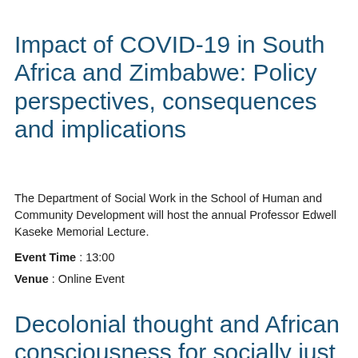Impact of COVID-19 in South Africa and Zimbabwe: Policy perspectives, consequences and implications
The Department of Social Work in the School of Human and Community Development will host the annual Professor Edwell Kaseke Memorial Lecture.
Event Time : 13:00
Venue : Online Event
Decolonial thought and African consciousness for socially just